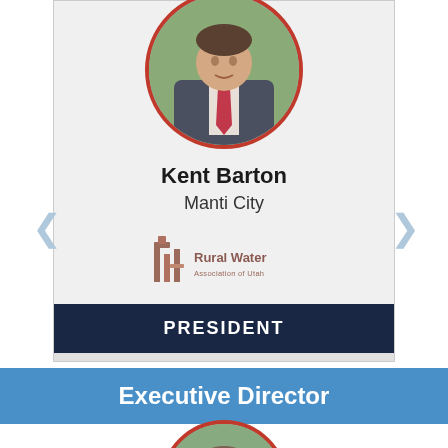[Figure (photo): Headshot of Kent Barton in a grey suit with red tie, circular crop with red border]
Kent Barton
Manti City
[Figure (logo): Rural Water Association of Utah logo]
PRESIDENT
Executive Director
[Figure (photo): Partial headshot of another person, circular crop with red border, bottom of page]